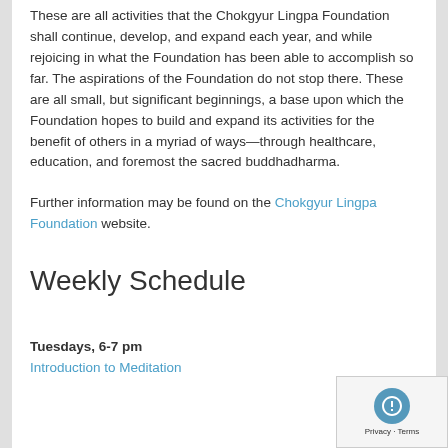These are all activities that the Chokgyur Lingpa Foundation shall continue, develop, and expand each year, and while rejoicing in what the Foundation has been able to accomplish so far. The aspirations of the Foundation do not stop there. These are all small, but significant beginnings, a base upon which the Foundation hopes to build and expand its activities for the benefit of others in a myriad of ways—through healthcare, education, and foremost the sacred buddhadharma.
Further information may be found on the Chokgyur Lingpa Foundation website.
Weekly Schedule
Tuesdays, 6-7 pm
Introduction to Meditation